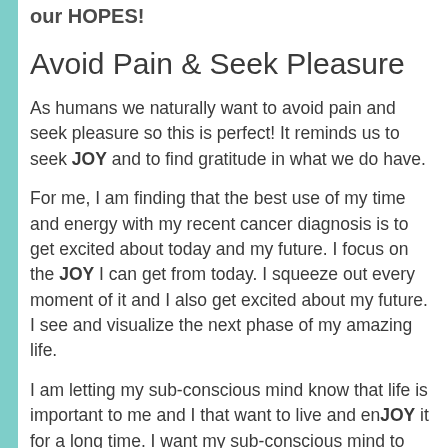our HOPES!
Avoid Pain & Seek Pleasure
As humans we naturally want to avoid pain and seek pleasure so this is perfect! It reminds us to seek JOY and to find gratitude in what we do have.
For me, I am finding that the best use of my time and energy with my recent cancer diagnosis is to get excited about today and my future. I focus on the JOY I can get from today. I squeeze out every moment of it and I also get excited about my future. I see and visualize the next phase of my amazing life.
I am letting my sub-conscious mind know that life is important to me and I that want to live and enJOY it for a long time. I want my sub-conscious mind to